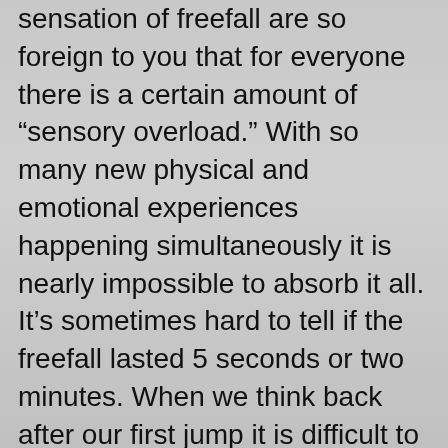sensation of freefall are so foreign to you that for everyone there is a certain amount of “sensory overload.” With so many new physical and emotional experiences happening simultaneously it is nearly impossible to absorb it all. It’s sometimes hard to tell if the freefall lasted 5 seconds or two minutes. When we think back after our first jump it is difficult to recall and to play it back in our minds as a moment by moment rerun.
On the second jump our hearts will be racing again, but because we’ve experienced it before we know much more what to expect. There is much less sensory overload. We can recall every second of it. Freefall actually seems like